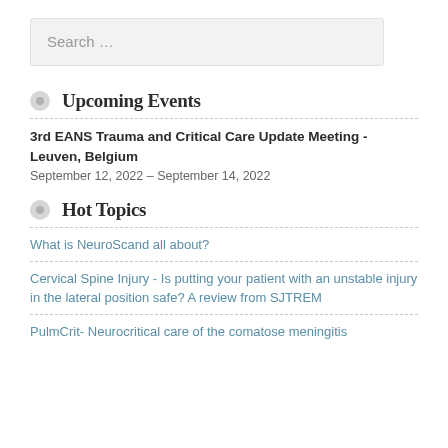Search …
Upcoming Events
3rd EANS Trauma and Critical Care Update Meeting - Leuven, Belgium
September 12, 2022 – September 14, 2022
Hot Topics
What is NeuroScand all about?
Cervical Spine Injury - Is putting your patient with an unstable injury in the lateral position safe? A review from SJTREM
PulmCrit- Neurocritical care of the comatose meningitis